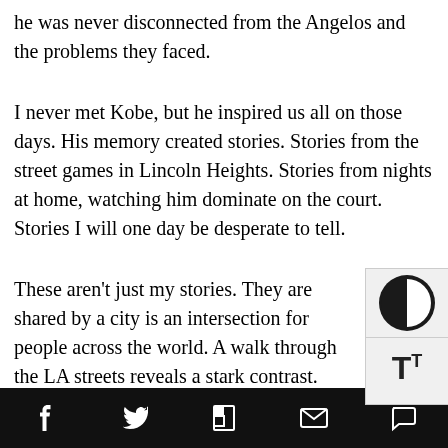he was never disconnected from the Angelos and the problems they faced.
I never met Kobe, but he inspired us all on those days. His memory created stories. Stories from the street games in Lincoln Heights. Stories from nights at home, watching him dominate on the court. Stories I will one day be desperate to tell.
These aren't just my stories. They are shared by a city is an intersection for people across the world. A walk through the LA streets reveals a stark contrast.
Los Angeles means something different to everyone. Some see it as a city place of opportunity, while the reality is that many people in LA grow up watching their city get swallowed by gentrification, income inequality, and
Social sharing and navigation bar icons: Facebook, Twitter, Flipboard, Email, Comment